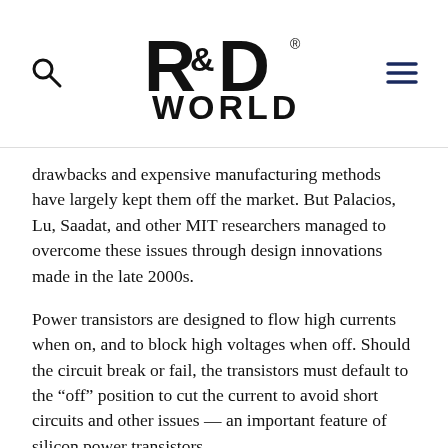R&D WORLD [logo with search and menu icons]
drawbacks and expensive manufacturing methods have largely kept them off the market. But Palacios, Lu, Saadat, and other MIT researchers managed to overcome these issues through design innovations made in the late 2000s.
Power transistors are designed to flow high currents when on, and to block high voltages when off. Should the circuit break or fail, the transistors must default to the “off” position to cut the current to avoid short circuits and other issues — an important feature of silicon power transistors.
But GaN transistors are typically “normally on” — meaning, by default, they’ll always allow a flow of current, which has historically been difficult to correct. Using resources in MIT’s Microsystems Technology Laboratory, the researchers — supported by Department of Defense and DOE grants — developed GaN